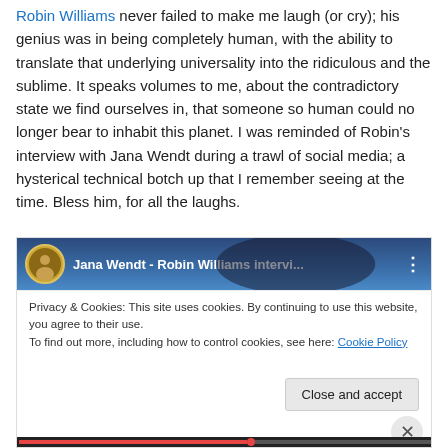Robin Williams never failed to make me laugh (or cry); his genius was in being completely human, with the ability to translate that underlying universality into the ridiculous and the sublime. It speaks volumes to me, about the contradictory state we find ourselves in, that someone so human could no longer bear to inhabit this planet. I was reminded of Robin's interview with Jana Wendt during a trawl of social media; a hysterical technical botch up that I remember seeing at the time. Bless him, for all the laughs.
[Figure (screenshot): Embedded video/webpage screenshot showing a YouTube-style video of 'Jana Wendt - Robin Williams intervi...' with a cookie consent banner overlay showing 'Privacy & Cookies: This site uses cookies. By continuing to use this website, you agree to their use. To find out more, including how to control cookies, see here: Cookie Policy' and a 'Close and accept' button. A video progress bar is visible at the bottom.]